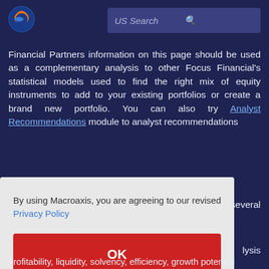[Figure (logo): Macroaxis globe logo — orange and blue circular icon]
US Search
Financial Partners information on this page should be used as a complementary analysis to other Focus Financial's statistical models used to find the right mix of equity instruments to add to your existing portfolios or create a brand new portfolio. You can also try Analyst Recommendations module to analyst recommendations several lysis is,
By using Macroaxis, you are agreeing to our revised Privacy Policy
OK
profitability, liquidity, solvency, efficiency, growth potential